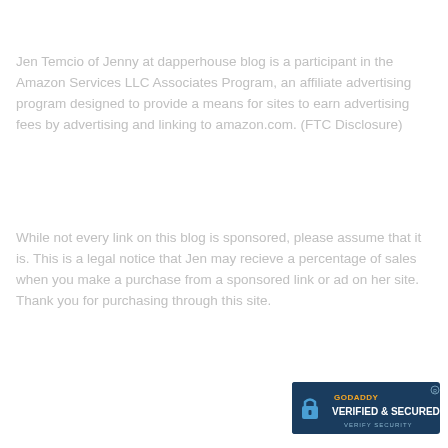Jen Temcio of Jenny at dapperhouse blog is a participant in the Amazon Services LLC Associates Program, an affiliate advertising program designed to provide a means for sites to earn advertising fees by advertising and linking to amazon.com. (FTC Disclosure)
While not every link on this blog is sponsored, please assume that it is. This is a legal notice that Jen may recieve a percentage of sales when you make a purchase from a sponsored link or ad on her site. Thank you for purchasing through this site.
[Figure (logo): GoDaddy Verified & Secured badge with lock icon]